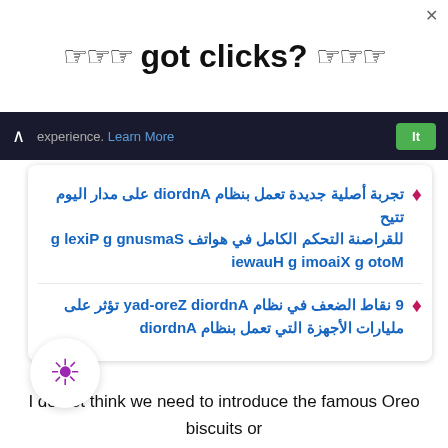[Figure (screenshot): Ad banner with pointing finger icons and text 'got clicks?']
تجربة أصلية جديدة تعمل بنظام Android على مدار اليوم تتيح للقراصنة التحكم الكامل في هواتف Samsung g Pixel g Moto g Xiaomi g Huawei
9 نقاط الضعف في نظام Android Zero-day تؤثر على مليارات الأجهزة التي تعمل بنظام Android
I do not think we need to introduce the famous Oreo biscuits or the Google policy of naming Android versions because everyone knows them well.